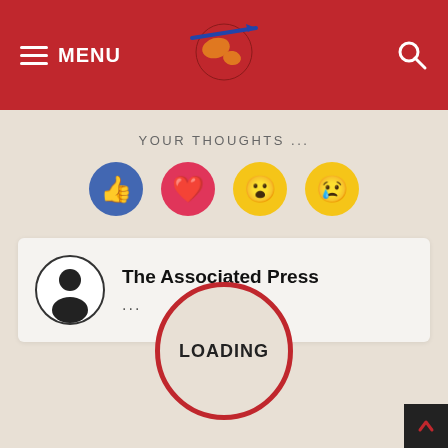MENU [hamburger] [logo] [search]
YOUR THOUGHTS ...
[Figure (infographic): Four emoji reaction buttons: thumbs up (blue circle), heart (pink/red circle), surprised face (yellow circle), crying face (yellow circle)]
The Associated Press
...
LOADING